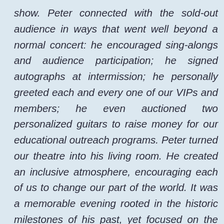show. Peter connected with the sold-out audience in ways that went well beyond a normal concert: he encouraged sing-alongs and audience participation; he signed autographs at intermission; he personally greeted each and every one of our VIPs and members; he even auctioned two personalized guitars to raise money for our educational outreach programs. Peter turned our theatre into his living room. He created an inclusive atmosphere, encouraging each of us to change our part of the world. It was a memorable evening rooted in the historic milestones of his past, yet focused on the current issues that continue to call him to activism. We all know how all the songs of Peter, Paul and Mary